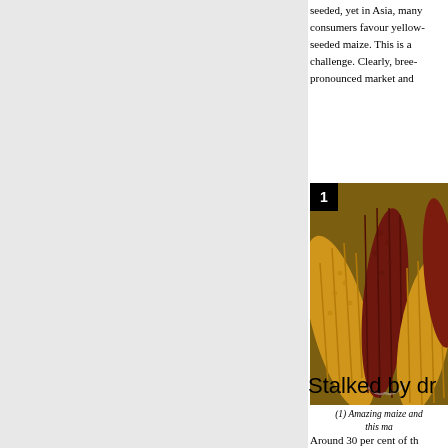seeded, yet in Asia, many consumers favour yellow-seeded maize. This is a challenge. Clearly, breeders face pronounced market and
[Figure (photo): Photo of multiple maize cobs showing diverse seed colors including yellow and dark red/maroon varieties, clustered together. A black square with number 1 is in the top-left corner.]
(1) Amazing maize and this ma
Stalked by dr
Around 30 per cent of th